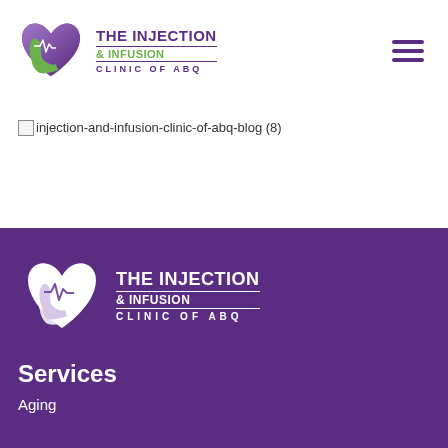[Figure (logo): The Injection & Infusion Clinic of ABQ logo with purple heart and green hand, header version]
[Figure (other): Hamburger menu icon with three purple horizontal lines]
[Figure (photo): Broken image placeholder for injection-and-infusion-clinic-of-abq-blog (8)]
[Figure (logo): The Injection & Infusion Clinic of ABQ logo, white version in footer on purple background]
Services
Aging